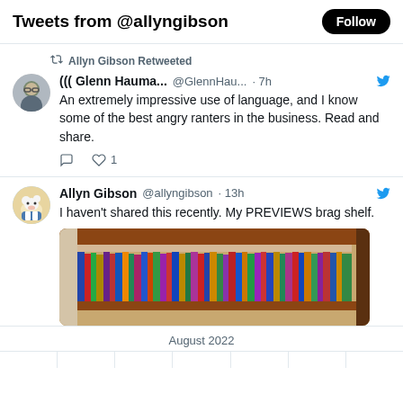Tweets from @allyngibson
Allyn Gibson Retweeted
((( Glenn Hauma...  @GlennHau...  · 7h
An extremely impressive use of language, and I know some of the best angry ranters in the business. Read and share.
1
Allyn Gibson  @allyngibson · 13h
I haven't shared this recently. My PREVIEWS brag shelf.
[Figure (photo): Photo of a bookshelf filled with many comic book PREVIEWS catalogs, tightly packed on wooden shelves.]
August 2022